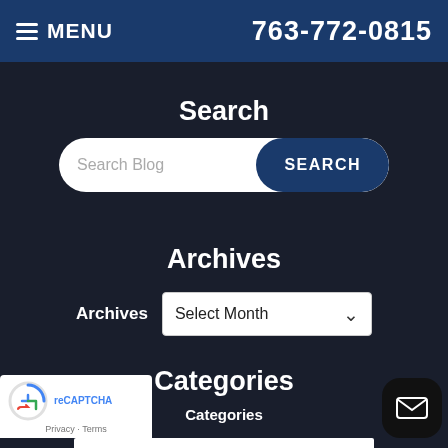MENU  763-772-0815
Search
[Figure (screenshot): Search bar with text input field labeled 'Search Blog' and a blue SEARCH button, rounded pill shape]
Archives
Archives  Select Month
Categories
Categories
[Figure (screenshot): reCAPTCHA badge with spinning arrows icon and Privacy - Terms links]
[Figure (screenshot): Floating email button, dark rounded square with envelope icon]